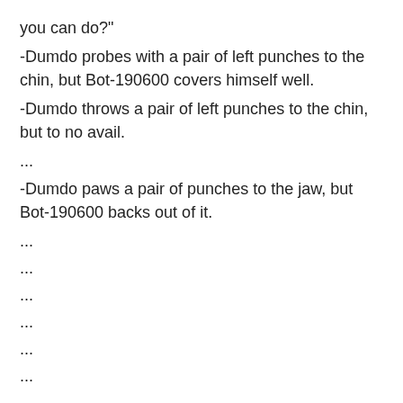you can do?"
-Dumdo probes with a pair of left punches to the chin, but Bot-190600 covers himself well.
-Dumdo throws a pair of left punches to the chin, but to no avail.
...
-Dumdo paws a pair of punches to the jaw, but Bot-190600 backs out of it.
...
...
...
...
...
...
...
+Dumdo pokes Bot-190600 with a stiff straight right to the eye.
...